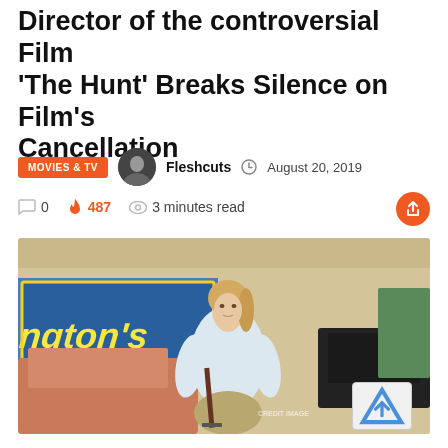Director of the controversial Film 'The Hunt' Breaks Silence on Film's Cancellation
MOVIES & TV  Fleshcuts  August 20, 2019
0  487  3 minutes read
[Figure (photo): A blonde woman in a white long-sleeve shirt and khaki skirt holding a rifle at what appears to be an outdoor location with a store sign reading 'ngton's' in the background.]